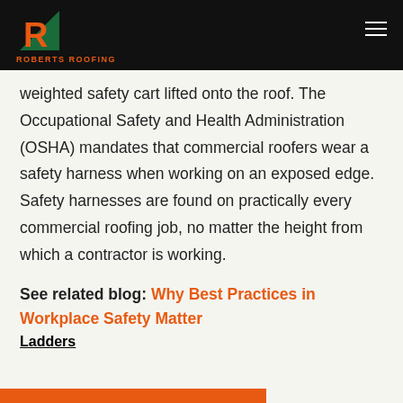ROBERTS ROOFING
weighted safety cart lifted onto the roof. The Occupational Safety and Health Administration (OSHA) mandates that commercial roofers wear a safety harness when working on an exposed edge. Safety harnesses are found on practically every commercial roofing job, no matter the height from which a contractor is working.
See related blog: Why Best Practices in Workplace Safety Matter
Ladders